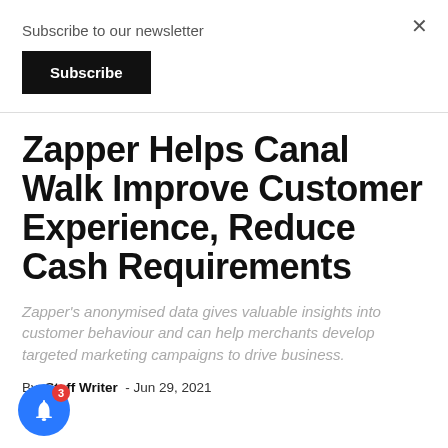Subscribe to our newsletter
Subscribe
Zapper Helps Canal Walk Improve Customer Experience, Reduce Cash Requirements
Zapper's anonymised data gives valuable insights into customer behaviour and can help merchants develop targeted marketing campaigns to drive business.
By Staff Writer - Jun 29, 2021